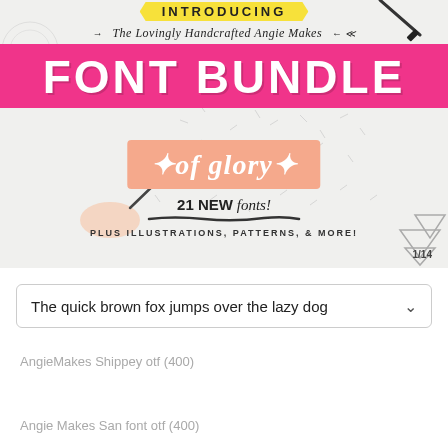[Figure (illustration): Promotional banner for 'The Lovingly Handcrafted Angie Makes Font Bundle of Glory' showing 21 new fonts, plus illustrations, patterns & more. Page 1/14. Features pink background with white bold text, peach secondary banner, hand holding pen illustration, decorative doodles, and yellow 'Introducing' tag.]
The quick brown fox jumps over the lazy dog
AngieMakes Shippey otf (400)
Angie Makes San font otf (400)